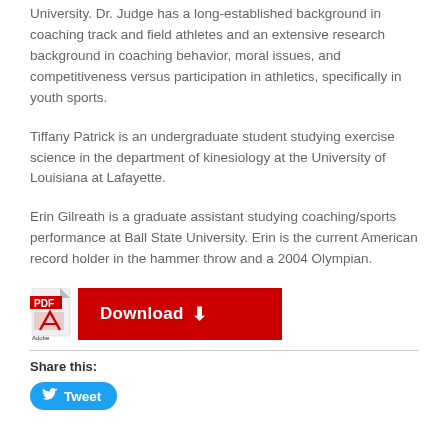University. Dr. Judge has a long-established background in coaching track and field athletes and an extensive research background in coaching behavior, moral issues, and competitiveness versus participation in athletics, specifically in youth sports.
Tiffany Patrick is an undergraduate student studying exercise science in the department of kinesiology at the University of Louisiana at Lafayette.
Erin Gilreath is a graduate assistant studying coaching/sports performance at Ball State University. Erin is the current American record holder in the hammer throw and a 2004 Olympian.
[Figure (other): PDF Download button with Adobe PDF icon and red Download button with arrow]
Share this:
[Figure (other): Twitter Tweet button in blue rounded rectangle]